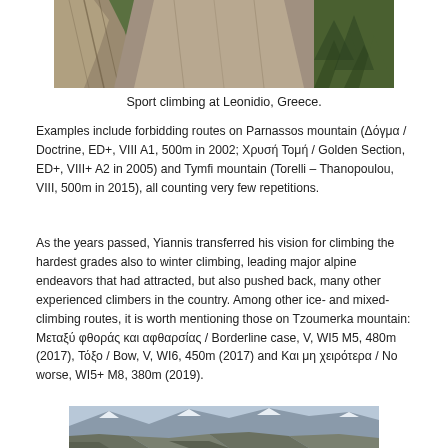[Figure (photo): Sport climbing photo at Leonidio, Greece — rocky cliff face with trees in background, partial view cut at top]
Sport climbing at Leonidio, Greece.
Examples include forbidding routes on Parnassos mountain (Δόγμα / Doctrine, ED+, VIII A1, 500m in 2002; Χρυσή Τομή / Golden Section, ED+, VIII+ A2 in 2005) and Tymfi mountain (Torelli – Thanopoulou, VIII, 500m in 2015), all counting very few repetitions.
As the years passed, Yiannis transferred his vision for climbing the hardest grades also to winter climbing, leading major alpine endeavors that had attracted, but also pushed back, many other experienced climbers in the country. Among other ice- and mixed-climbing routes, it is worth mentioning those on Tzoumerka mountain: Μεταξύ φθοράς και αφθαρσίας / Borderline case, V, WI5 M5, 480m (2017), Τόξο / Bow, V, WI6, 450m (2017) and Και μη χειρότερα / No worse, WI5+ M8, 380m (2019).
[Figure (photo): Mountain landscape photo — snowy peaks with rocky terrain, partial view at bottom of page]